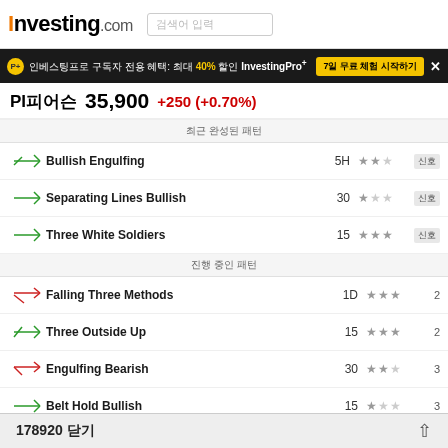Investing.com
피어슨 35,900 +250 (+0.70%)
최근 완성된 패턴
Bullish Engulfing - 5H - ★★☆ - 신호
Separating Lines Bullish - 30 - ★☆☆ - 신호
Three White Soldiers - 15 - ★★★ - 신호
진행 중인 패턴
Falling Three Methods - 1D - ★★★ - 2
Three Outside Up - 15 - ★★★ - 2
Engulfing Bearish - 30 - ★★☆ - 3
Belt Hold Bullish - 15 - ★☆☆ - 3
Bullish Engulfing - 15 - ★★☆ - 3
Abandoned Baby Bullish - 1D - ★★★ - 4
Bullish doji Star - 1D - ★★☆ - 5
Harami B... - ?
Harami C... - ?
178920 닫기